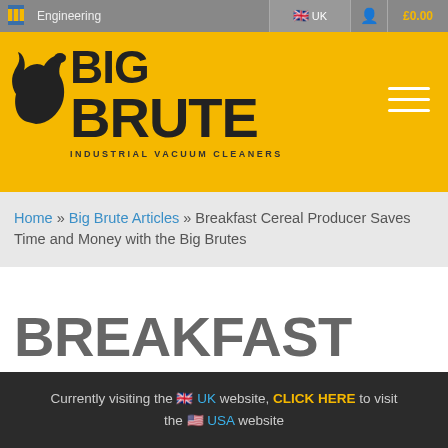Engineering
[Figure (logo): Big Brute Industrial Vacuum Cleaners logo on yellow background with animal mascot icon]
Home » Big Brute Articles » Breakfast Cereal Producer Saves Time and Money with the Big Brutes
BREAKFAST CEREAL PRODUCER SAVES TIME
Currently visiting the 🇬🇧 UK website, CLICK HERE to visit the 🇺🇸 USA website